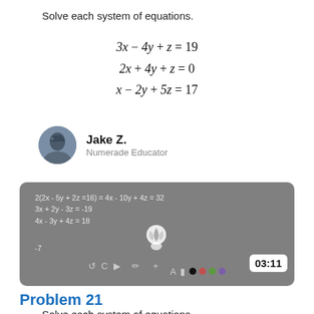Solve each system of equations.
Jake Z.
Numerade Educator
[Figure (screenshot): Video thumbnail showing equations: 2(2x - 5y + 2z =16) = 4x - 10y + 4z = 32, 3x + 2y - 3z = -19, 4x - 3y + 4z = 18, -7, with Numerade logo and timer 03:11]
Problem 21
Solve each system of equations.